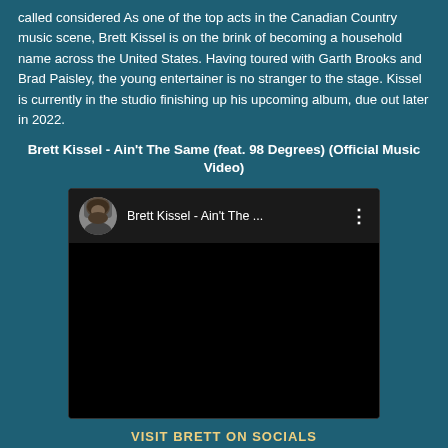called considered As one of the top acts in the Canadian Country music scene, Brett Kissel is on the brink of becoming a household name across the United States. Having toured with Garth Brooks and Brad Paisley, the young entertainer is no stranger to the stage. Kissel is currently in the studio finishing up his upcoming album, due out later in 2022.
Brett Kissel - Ain't The Same (feat. 98 Degrees) (Official Music Video)
[Figure (screenshot): YouTube video player embed showing Brett Kissel - Ain't The ... with avatar thumbnail and black video area]
VISIT BRETT ON SOCIALS
Website - https://www.brettkissel.com/
Facebook - https://www.facebook.com/brettkisselmusic